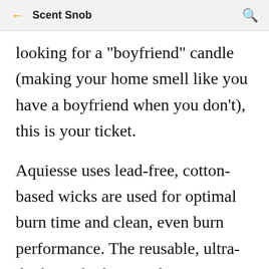← Scent Snob 🔍
looking for a "boyfriend" candle (making your home smell like you have a boyfriend when you don't), this is your ticket.
Aquiesse uses lead-free, cotton-based wicks are used for optimal burn time and clean, even burn performance. The reusable, ultra-thick smoke-brown glass is stunning and looks beautiful in every home. Custom heat-resistant candle cover